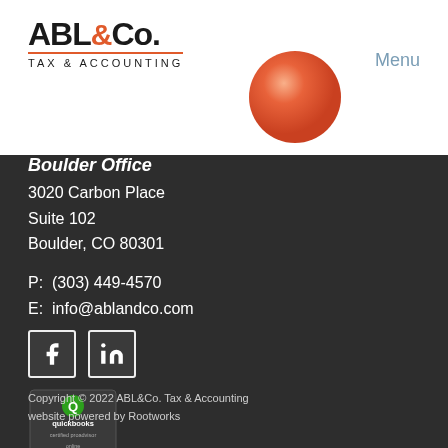[Figure (logo): ABL&Co. Tax & Accounting logo with orange circle graphic and orange ampersand]
Menu
Boulder Office
3020 Carbon Place
Suite 102
Boulder, CO 80301
P:  (303) 449-4570
E:  info@ablandco.com
[Figure (illustration): Facebook and LinkedIn social media icons]
[Figure (logo): QuickBooks Certified ProAdvisor badge with green checkmark]
Copyright © 2022 ABL&Co. Tax & Accounting
website powered by Rootworks